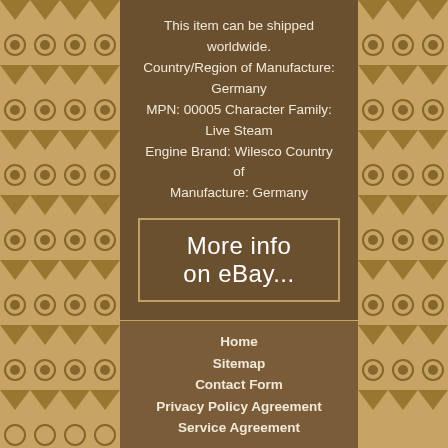This item can be shipped worldwide. Country/Region of Manufacture: Germany MPN: 00005 Character Family: Live Steam Engine Brand: Wilesco Country of Manufacture: Germany
[Figure (other): Button/link reading 'More info on eBay...' with border, white Comic Sans text on dark brown background]
Home
Sitemap
Contact Form
Privacy Policy Agreement
Service Agreement